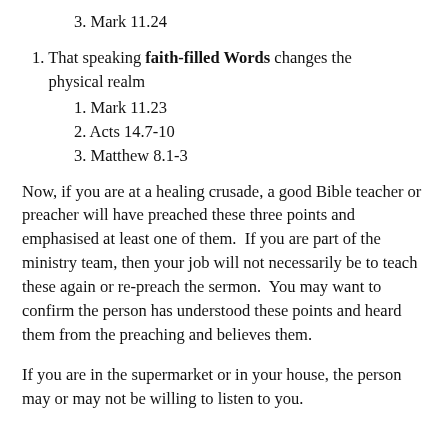3. Mark 11.24
1. That speaking faith-filled Words changes the physical realm
1. Mark 11.23
2. Acts 14.7-10
3. Matthew 8.1-3
Now, if you are at a healing crusade, a good Bible teacher or preacher will have preached these three points and emphasised at least one of them.  If you are part of the ministry team, then your job will not necessarily be to teach these again or re-preach the sermon.  You may want to confirm the person has understood these points and heard them from the preaching and believes them.
If you are in the supermarket or in your house, the person may or may not be willing to listen to you.